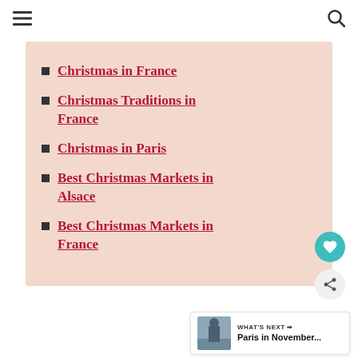☰ 🔍
Christmas in France
Christmas Traditions in France
Christmas in Paris
Best Christmas Markets in Alsace
Best Christmas Markets in France
WHAT'S NEXT → Paris in November...